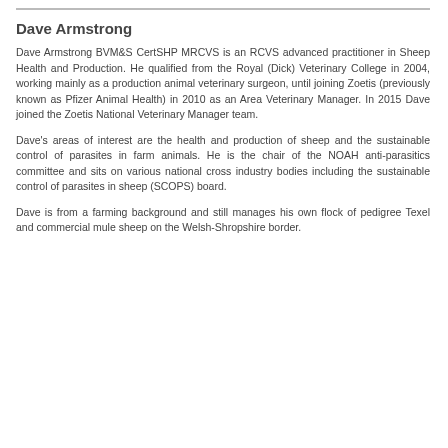Dave Armstrong
Dave Armstrong BVM&S CertSHP MRCVS is an RCVS advanced practitioner in Sheep Health and Production. He qualified from the Royal (Dick) Veterinary College in 2004, working mainly as a production animal veterinary surgeon, until joining Zoetis (previously known as Pfizer Animal Health) in 2010 as an Area Veterinary Manager. In 2015 Dave joined the Zoetis National Veterinary Manager team.
Dave's areas of interest are the health and production of sheep and the sustainable control of parasites in farm animals. He is the chair of the NOAH anti-parasitics committee and sits on various national cross industry bodies including the sustainable control of parasites in sheep (SCOPS) board.
Dave is from a farming background and still manages his own flock of pedigree Texel and commercial mule sheep on the Welsh-Shropshire border.